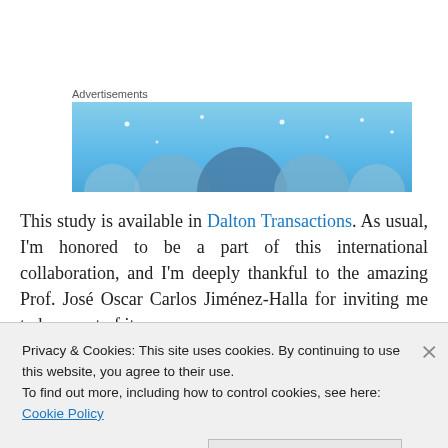Advertisements
[Figure (illustration): Advertisement banner with light blue background and abstract circular shapes]
This study is available in Dalton Transactions. As usual, I'm honored to be a part of this international collaboration, and I'm deeply thankful to the amazing Prof. José Oscar Carlos Jiménez-Halla for inviting me to be a part of it.
Yoshitaka Kimura, Leonardo L. Lugo-Fuentes, Souta Saito
Privacy & Cookies: This site uses cookies. By continuing to use this website, you agree to their use.
To find out more, including how to control cookies, see here: Cookie Policy